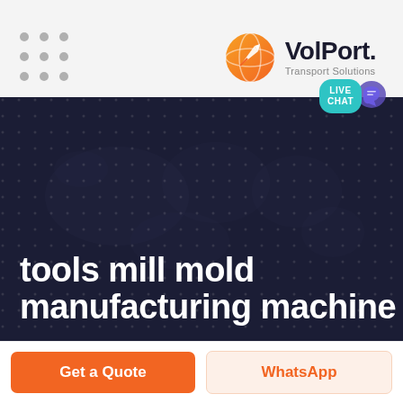[Figure (logo): VolPort Transport Solutions logo with orange rocket/globe icon and company name]
[Figure (infographic): Live Chat speech bubble button in teal/cyan color with purple chat icon]
tools mill mold manufacturing machine
Get a Quote
WhatsApp